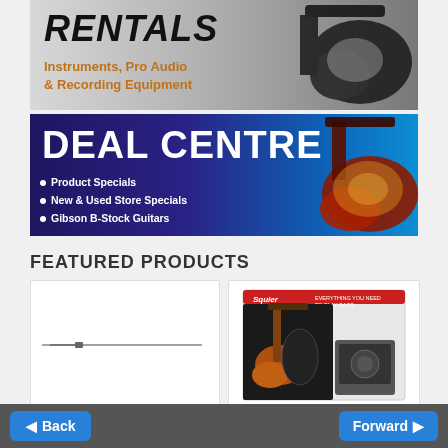[Figure (illustration): Rentals banner with electric guitar image. Large bold italic text 'RENTALS' and subtitle 'Instruments, Pro Audio & Recording Equipment' in orange-brown on grey gradient background.]
[Figure (illustration): Deal Centre banner with red Gibson Les Paul guitar on blue-purple gradient background. Text: 'DEAL CENTRE' with bullet points: Product Specials, New & Used Store Specials, Gibson B-Stock Guitars.]
FEATURED PRODUCTS
[Figure (photo): Product image placeholder - appears to show a thin horizontal instrument (flute/similar) against white background.]
[Figure (photo): Squier bass guitar starter pack box - 'Everything You Need To Play Bass' packaging showing bass guitar, amp, and bag.]
Instrument shown below
Squier
Back  Forward